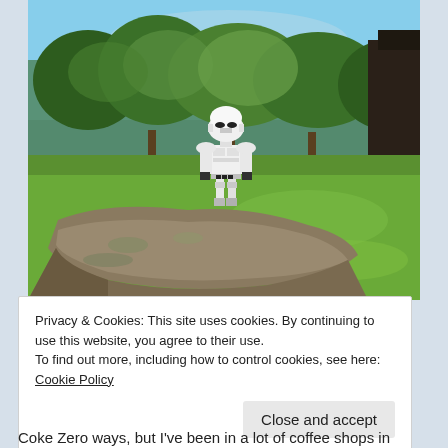[Figure (photo): A Star Wars Stormtrooper action figure standing on a mossy rock/log in an outdoor park setting with green grass and trees in the background under a blue sky.]
Privacy & Cookies: This site uses cookies. By continuing to use this website, you agree to their use.
To find out more, including how to control cookies, see here: Cookie Policy
Close and accept
Coke Zero ways, but I've been in a lot of coffee shops in